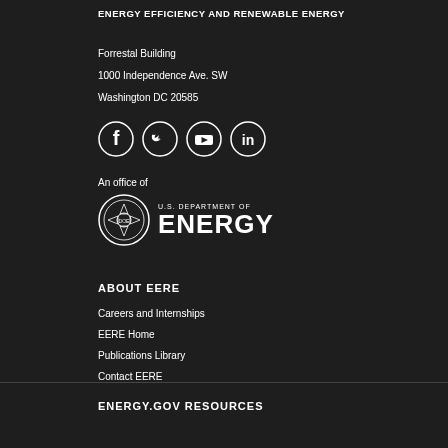ENERGY EFFICIENCY AND RENEWABLE ENERGY
Forrestal Building
1000 Independence Ave. SW
Washington DC 20585
[Figure (illustration): Social media icons in circles: Facebook, Twitter, YouTube, LinkedIn]
An office of
[Figure (logo): U.S. Department of Energy logo with seal and text 'U.S. DEPARTMENT OF ENERGY']
ABOUT EERE
Careers and Internships
EERE Home
Publications Library
Contact EERE
ENERGY.GOV RESOURCES